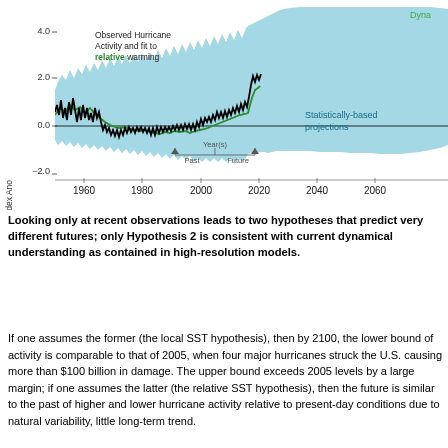[Figure (continuous-plot): Time series chart showing observed hurricane activity (black line) and fit to relative warming (green line) from ~1950 to ~2005, with statistically-based projections (light blue shaded area) extending to 2080+. Y-axis is Power Dissipation Index Anomaly (-2.0 to 4.0). X-axis shows years 1960 to 2060+. A label marks Past and Future separated at ~2005. A green label 'Dyna...' appears top right.]
Looking only at recent observations leads to two hypotheses that predict very different futures; only Hypothesis 2 is consistent with current dynamical understanding as contained in high-resolution models.
If one assumes the former (the local SST hypothesis), then by 2100, the lower bound of activity is comparable to that of 2005, when four major hurricanes struck the U.S. causing more than $100 billion in damage. The upper bound exceeds 2005 levels by a large margin; if one assumes the latter (the relative SST hypothesis), then the future is similar to the past of higher and lower hurricane activity relative to present-day conditions due to natural variability, little long-term trend.